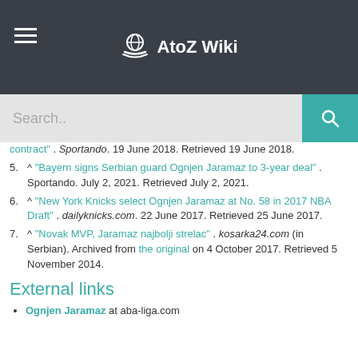AtoZ Wiki
contract" . Sportando. 19 June 2018. Retrieved 19 June 2018.
5. ^ "Bayern signs Serbian guard Ognjen Jaramaz to 3-year deal" . Sportando. July 2, 2021. Retrieved July 2, 2021.
6. ^ "New York Knicks select Ognjen Jaramaz at No. 58 in 2017 NBA Draft" . dailyknicks.com. 22 June 2017. Retrieved 25 June 2017.
7. ^ "Novak MVP, Jaramaz najbolji strelac" . kosarka24.com (in Serbian). Archived from the original on 4 October 2017. Retrieved 5 November 2014.
External links
Ognjen Jaramaz at aba-liga.com